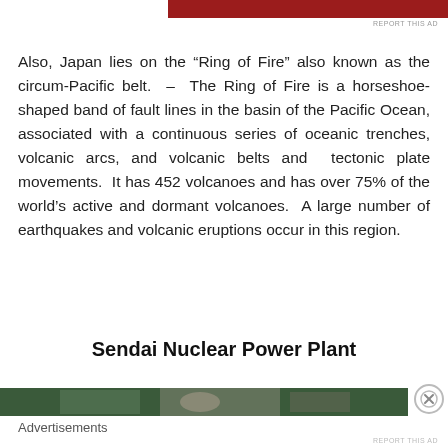[Figure (other): Red advertisement banner at top of page]
REPORT THIS AD
Also, Japan lies on the “Ring of Fire” also known as the circum-Pacific belt.  –  The Ring of Fire is a horseshoe-shaped band of fault lines in the basin of the Pacific Ocean, associated with a continuous series of oceanic trenches, volcanic arcs, and volcanic belts and tectonic plate movements. It has 452 volcanoes and has over 75% of the world’s active and dormant volcanoes. A large number of earthquakes and volcanic eruptions occur in this region.
Sendai Nuclear Power Plant
[Figure (photo): Partial photo of Sendai Nuclear Power Plant, partially obscured by advertisement overlay]
Advertisements
REPORT THIS AD